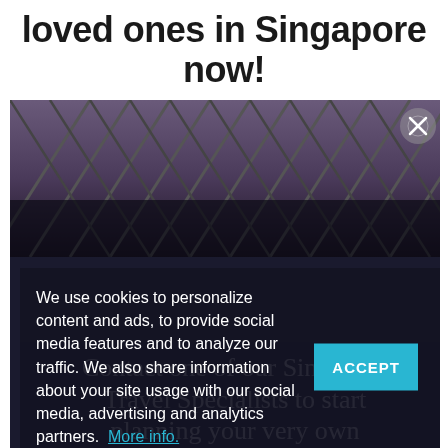loved ones in Singapore now!
[Figure (photo): Architectural glass ceiling/roof structure with diamond/triangular grid pattern, photographed at dusk with purple/blue tones. A close button (X) appears in the top-right corner.]
We use cookies to personalize content and ads, to provide social media features and to analyze our traffic. We also share information about your site usage with our social media, advertising and analytics partners. More info.
Contact one of our Singapore Travel Specialists to start planning your very own